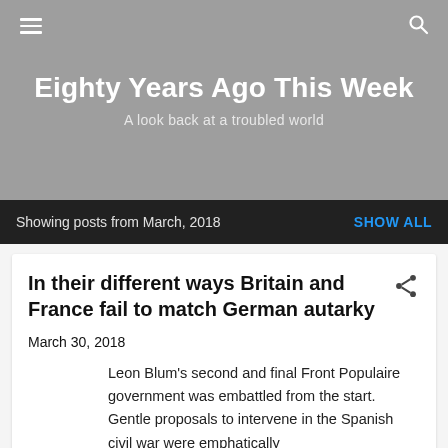Eighty Years Ago This Week — A look back at a troubled world
Showing posts from March, 2018   SHOW ALL
In their different ways Britain and France fail to match German autarky
March 30, 2018
Leon Blum's second and final Front Populaire government was embattled from the start. Gentle proposals to intervene in the Spanish civil war were emphatically